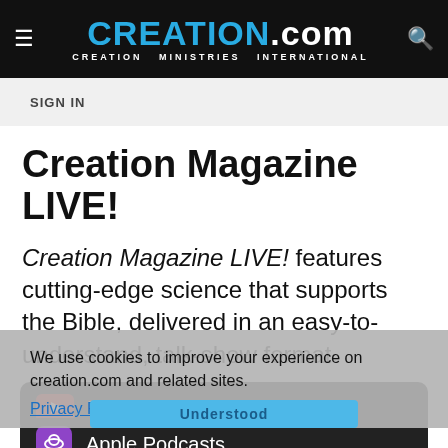CREATION.com — CREATION MINISTRIES INTERNATIONAL
SIGN IN
Creation Magazine LIVE!
Creation Magazine LIVE! features cutting-edge science that supports the Bible, delivered in an easy-to-understand, talk-show format.
We use cookies to improve your experience on creation.com and related sites.
Privacy Policy
Understood
YouTube
Apple Podcasts